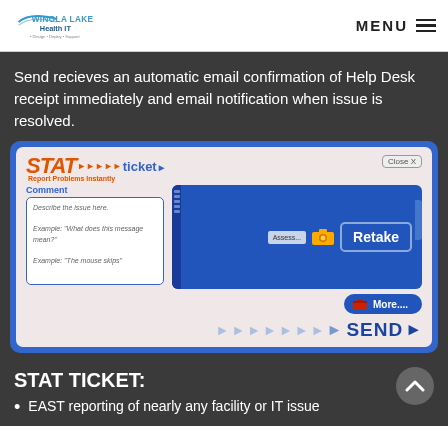WINOLA LAKE Health IT — MENU
Send recieves an automatic email confirmation of Help Desk receipt immediately and email notification when issue is resolved.
[Figure (screenshot): STAT ticket software interface showing a comment box with placeholder text 'Describe the issue here', example prompts, a screen capture panel with a Retake button, a More... button, and a SEND button with arrow indicators.]
STAT TICKET:
EAST reporting of nearly any facility or IT issue